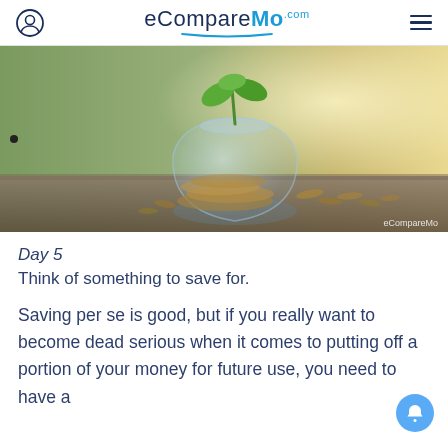eCompareMo.com
[Figure (photo): A glass jar filled with coins with a green plant sprouting from the top, surrounded by scattered coins on a wooden surface, backlit with warm light. Watermark: eCompareMo]
Day 5
Think of something to save for.
Saving per se is good, but if you really want to become dead serious when it comes to putting off a portion of your money for future use, you need to have a